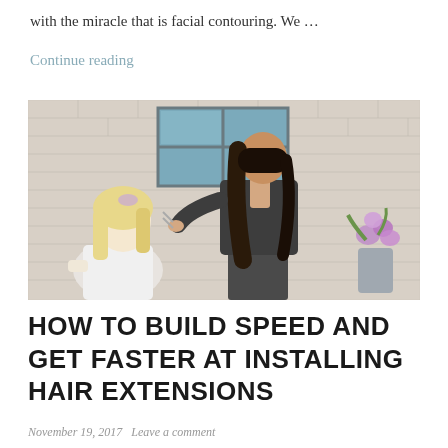with the miracle that is facial contouring. We ...
Continue reading
[Figure (photo): A hairstylist standing and working on a seated client's hair in a salon-like setting with brick walls, a window, and flowers in the background.]
HOW TO BUILD SPEED AND GET FASTER AT INSTALLING HAIR EXTENSIONS
November 19, 2017   Leave a comment